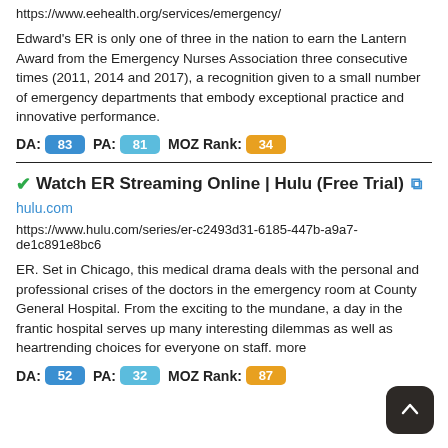https://www.eehealth.org/services/emergency/
Edward's ER is only one of three in the nation to earn the Lantern Award from the Emergency Nurses Association three consecutive times (2011, 2014 and 2017), a recognition given to a small number of emergency departments that embody exceptional practice and innovative performance.
DA: 83 PA: 81 MOZ Rank: 34
Watch ER Streaming Online | Hulu (Free Trial)
hulu.com
https://www.hulu.com/series/er-c2493d31-6185-447b-a9a7-de1c891e8bc6
ER. Set in Chicago, this medical drama deals with the personal and professional crises of the doctors in the emergency room at County General Hospital. From the exciting to the mundane, a day in the frantic hospital serves up many interesting dilemmas as well as heartrending choices for everyone on staff. more
DA: 52 PA: 32 MOZ Rank: 87